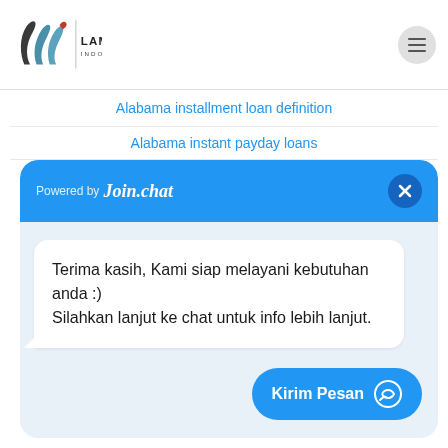[Figure (logo): Lamani Indonesia logo with stylized LW letterform in dark gray and teal with red accent, followed by vertical divider and text LAMANI INDONESIA]
Alabama installment loan definition
Alabama instant payday loans
[Figure (screenshot): Join.chat widget popup with blue header showing 'Powered by Join.chat' and close button, white message bubble with text 'Terima kasih, Kami siap melayani kebutuhan anda :) Silahkan lanjut ke chat untuk info lebih lanjut.' and blue 'Kirim Pesan' send button at bottom right]